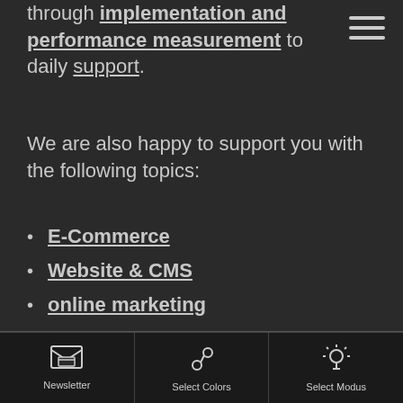through implementation and performance measurement to daily support.
We are also happy to support you with the following topics:
E-Commerce
Website & CMS
online marketing
Newsletter | Select Colors | Select Modus